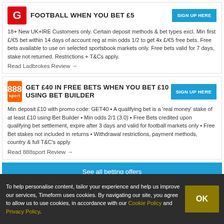FOOTBALL WHEN YOU BET £5
18+ New UK+IRE Customers only. Certain deposit methods & bet types excl. Min first £/€5 bet within 14 days of account reg at min odds 1/2 to get 4x £/€5 free bets. Free bets available to use on selected sportsbook markets only. Free bets valid for 7 days, stake not returned. Restrictions + T&Cs apply.
Read Ladbrokes Review →
GET £40 IN FREE BETS WHEN YOU BET £10 USING BET BUILDER
Min deposit £10 with promo code: GET40 • A qualifying bet is a 'real money' stake of at least £10 using Bet Builder • Min odds 2/1 (3.0) • Free Bets credited upon qualifying bet settlement, expire after 3 days and valid for football markets only • Free Bet stakes not included in returns • Withdrawal restrictions, payment methods, country & full T&C's apply
Read 888sport Review →
See all betting offers
To help personalise content, tailor your experience and help us improve our services, Timeform uses cookies. By navigating our site, you agree to allow us to use cookies, in accordance with our Cookie Policy and Privacy Policy.